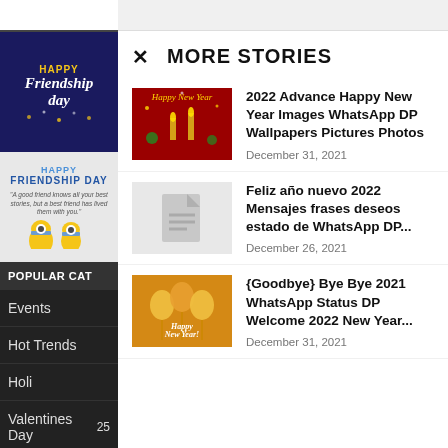[Figure (illustration): Happy Friendship Day dark blue banner with gold script text]
[Figure (illustration): Happy Friendship Day card with minions characters]
POPULAR CAT
Events
Hot Trends
Holi
Valentines Day
Christmas
MORE STORIES
[Figure (illustration): Happy New Year red festive image with candles and decorations]
2022 Advance Happy New Year Images WhatsApp DP Wallpapers Pictures Photos
December 31, 2021
[Figure (illustration): Placeholder document icon image]
Feliz año nuevo 2022 Mensajes frases deseos estado de WhatsApp DP...
December 26, 2021
[Figure (illustration): Happy New Year golden balloon celebration image]
{Goodbye} Bye Bye 2021 WhatsApp Status DP Welcome 2022 New Year...
December 31, 2021